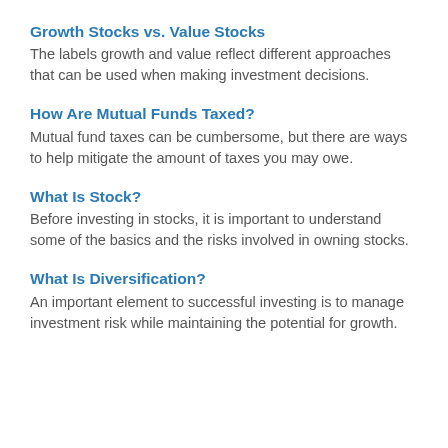Growth Stocks vs. Value Stocks
The labels growth and value reflect different approaches that can be used when making investment decisions.
How Are Mutual Funds Taxed?
Mutual fund taxes can be cumbersome, but there are ways to help mitigate the amount of taxes you may owe.
What Is Stock?
Before investing in stocks, it is important to understand some of the basics and the risks involved in owning stocks.
What Is Diversification?
An important element to successful investing is to manage investment risk while maintaining the potential for growth.